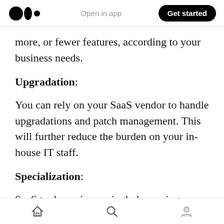Medium logo | Open in app | Get started
more, or fewer features, according to your business needs.
Upgradation:
You can rely on your SaaS vendor to handle upgradations and patch management. This will further reduce the burden on your in-house IT staff.
Specialization:
SaaS tools are increasingly becoming dedicated
Home | Search | Profile